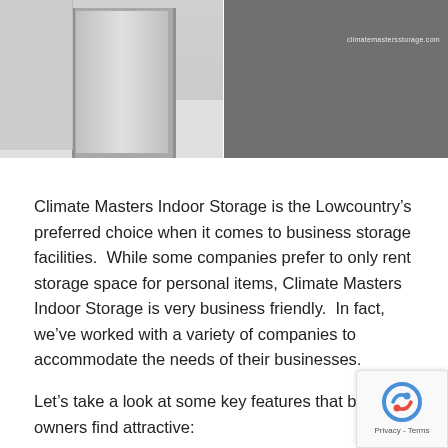[Figure (photo): Split image: left side shows a storage facility hallway with a door, right side shows stacked dark storage boxes. Watermark reads 'climatemastersstorage.com']
Climate Masters Indoor Storage is the Lowcountry’s preferred choice when it comes to business storage facilities.  While some companies prefer to only rent storage space for personal items, Climate Masters Indoor Storage is very business friendly.  In fact, we’ve worked with a variety of companies to accommodate the needs of their businesses.
Let’s take a look at some key features that business owners find attractive:
Storage Space